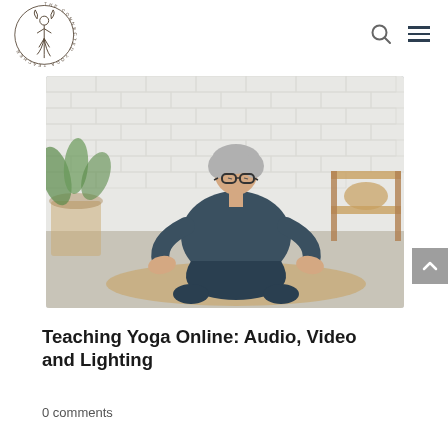The Connected Yoga Teacher [logo] [search icon] [menu icon]
[Figure (photo): An older woman with short gray hair and glasses sits in a cross-legged meditation pose on a yoga mat, wearing a dark teal long-sleeve top and pants. She is in a bright room with white brick walls, a potted plant to the left, and a wooden shelf to the right with a woven basket.]
Teaching Yoga Online: Audio, Video and Lighting
0 comments